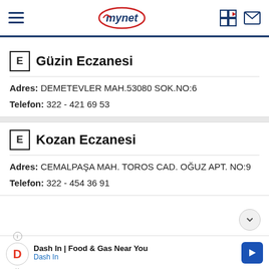mynet
E Güzin Eczanesi
Adres: DEMETEVLER MAH.53080 SOK.NO:6
Telefon: 322 - 421 69 53
E Kozan Eczanesi
Adres: CEMALPAŞA MAH. TOROS CAD. OĞUZ APT. NO:9
Telefon: 322 - 454 36 91
Dash In | Food & Gas Near You – Dash In